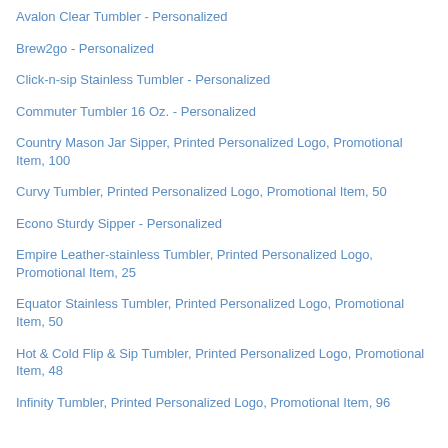Avalon Clear Tumbler - Personalized
Brew2go - Personalized
Click-n-sip Stainless Tumbler - Personalized
Commuter Tumbler 16 Oz. - Personalized
Country Mason Jar Sipper, Printed Personalized Logo, Promotional Item, 100
Curvy Tumbler, Printed Personalized Logo, Promotional Item, 50
Econo Sturdy Sipper - Personalized
Empire Leather-stainless Tumbler, Printed Personalized Logo, Promotional Item, 25
Equator Stainless Tumbler, Printed Personalized Logo, Promotional Item, 50
Hot & Cold Flip & Sip Tumbler, Printed Personalized Logo, Promotional Item, 48
Infinity Tumbler, Printed Personalized Logo, Promotional Item, 96